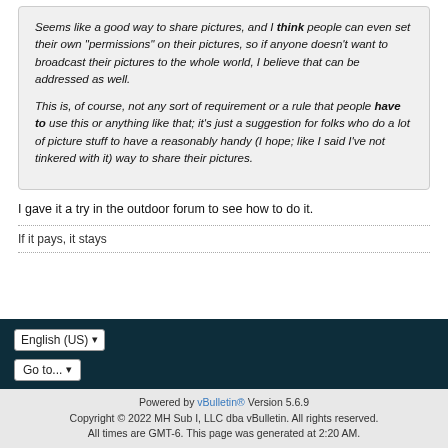Seems like a good way to share pictures, and I think people can even set their own "permissions" on their pictures, so if anyone doesn't want to broadcast their pictures to the whole world, I believe that can be addressed as well.

This is, of course, not any sort of requirement or a rule that people have to use this or anything like that; it's just a suggestion for folks who do a lot of picture stuff to have a reasonably handy (I hope; like I said I've not tinkered with it) way to share their pictures.
I gave it a try in the outdoor forum to see how to do it.
If it pays, it stays
Powered by vBulletin® Version 5.6.9
Copyright © 2022 MH Sub I, LLC dba vBulletin. All rights reserved.
All times are GMT-6. This page was generated at 2:20 AM.